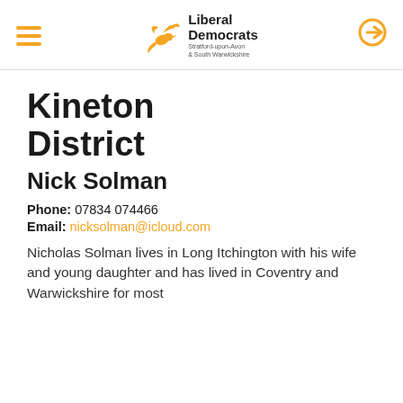Liberal Democrats Stratford-upon-Avon & South Warwickshire
Kineton District
Nick Solman
Phone: 07834 074466
Email: nicksolman@icloud.com
Nicholas Solman lives in Long Itchington with his wife and young daughter and has lived in Coventry and Warwickshire for most